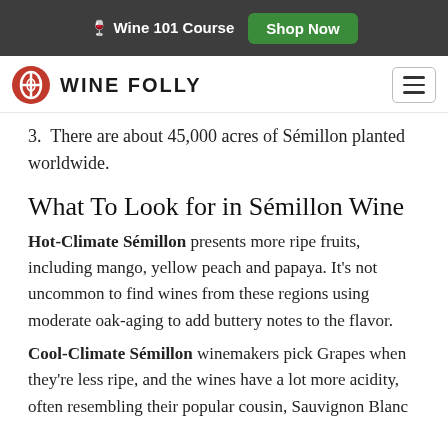🍷 Wine 101 Course  Shop Now
WINE FOLLY
3. There are about 45,000 acres of Sémillon planted worldwide.
What To Look for in Sémillon Wine
Hot-Climate Sémillon presents more ripe fruits, including mango, yellow peach and papaya. It's not uncommon to find wines from these regions using moderate oak-aging to add buttery notes to the flavor.
Cool-Climate Sémillon winemakers pick Grapes when they're less ripe, and the wines have a lot more acidity, often resembling their popular cousin, Sauvignon Blanc